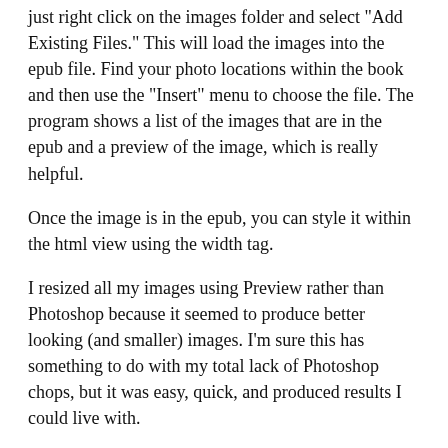just right click on the images folder and select "Add Existing Files." This will load the images into the epub file. Find your photo locations within the book and then use the "Insert" menu to choose the file. The program shows a list of the images that are in the epub and a preview of the image, which is really helpful.
Once the image is in the epub, you can style it within the html view using the width tag.
I resized all my images using Preview rather than Photoshop because it seemed to produce better looking (and smaller) images. I'm sure this has something to do with my total lack of Photoshop chops, but it was easy, quick, and produced results I could live with.
The Kindle Direct Publishing user interface is really easy to use. Once I had the manuscript ready, there were only two screens worth of information to fill out: the first only for book formatting and the second only for publishing.